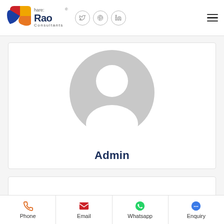Share: Rao Consultants — social icons (Twitter, Pinterest, LinkedIn), hamburger menu
[Figure (illustration): Default user avatar — grey circle with a white silhouette person icon, centered in a white card. Below the avatar, the name 'Admin' is shown in bold dark navy text.]
Phone | Email | Whatsapp | Enquiry